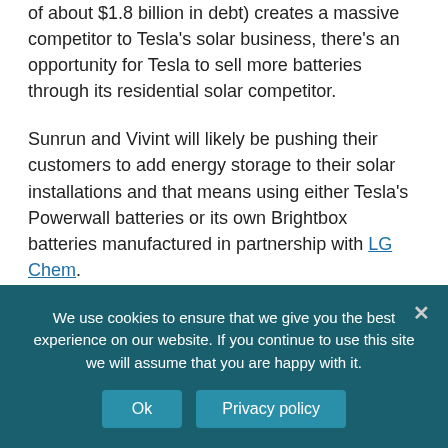of about $1.8 billion in debt) creates a massive competitor to Tesla's solar business, there's an opportunity for Tesla to sell more batteries through its residential solar competitor.
Sunrun and Vivint will likely be pushing their customers to add energy storage to their solar installations and that means using either Tesla's Powerwall batteries or its own Brightbox batteries manufactured in partnership with LG Chem.
Investors have responded to Sunrun's latest maneuver by
We use cookies to ensure that we give you the best experience on our website. If you continue to use this site we will assume that you are happy with it.